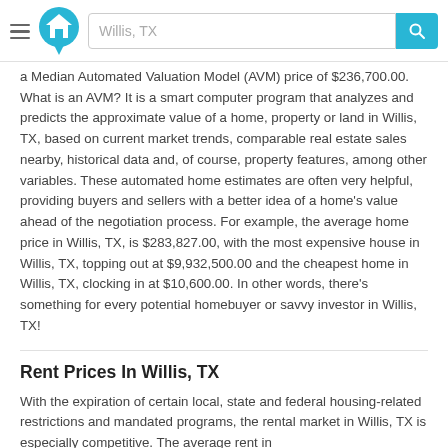Willis, TX
a Median Automated Valuation Model (AVM) price of $236,700.00. What is an AVM? It is a smart computer program that analyzes and predicts the approximate value of a home, property or land in Willis, TX, based on current market trends, comparable real estate sales nearby, historical data and, of course, property features, among other variables. These automated home estimates are often very helpful, providing buyers and sellers with a better idea of a home's value ahead of the negotiation process. For example, the average home price in Willis, TX, is $283,827.00, with the most expensive house in Willis, TX, topping out at $9,932,500.00 and the cheapest home in Willis, TX, clocking in at $10,600.00. In other words, there's something for every potential homebuyer or savvy investor in Willis, TX!
Rent Prices In Willis, TX
With the expiration of certain local, state and federal housing-related restrictions and mandated programs, the rental market in Willis, TX is especially competitive. The average rent in...